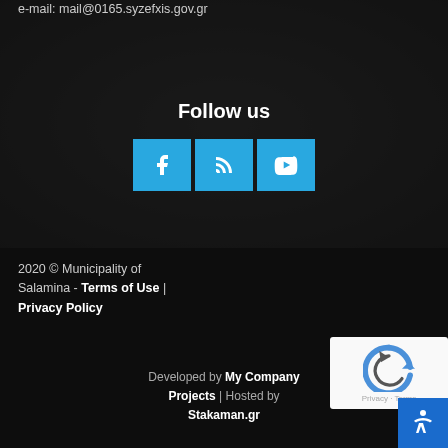e-mail: mail@0165.syzefxis.gov.gr
Follow us
[Figure (infographic): Social media icons row: Facebook, RSS feed, YouTube — each in a blue square button]
2020 © Municipality of Salamina - Terms of Use | Privacy Policy
Developed by My Company Projects | Hosted by Stakaman.gr
[Figure (other): reCAPTCHA widget badge with privacy and terms text]
[Figure (other): Accessibility icon button in blue]